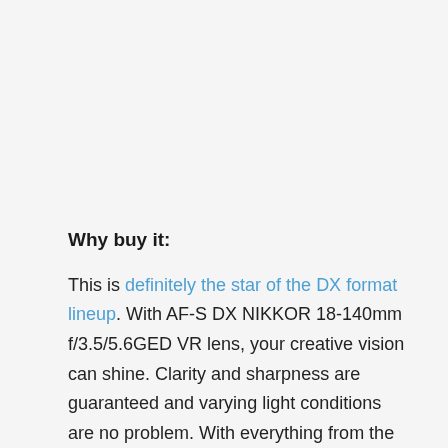Why buy it:
This is definitely the star of the DX format lineup. With AF-S DX NIKKOR 18-140mm f/3.5/5.6GED VR lens, your creative vision can shine. Clarity and sharpness are guaranteed and varying light conditions are no problem. With everything from the day-to-day moments you experience, to gentle wildlife.